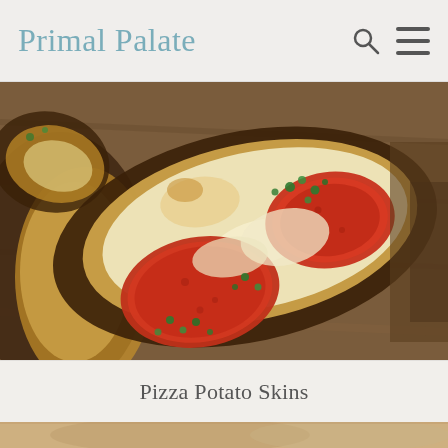Primal Palate
[Figure (photo): Close-up photo of pizza potato skins on a wooden surface — hollowed potato skins filled with melted mozzarella cheese, red pepperoni slices, and garnished with chopped fresh green herbs (parsley)]
Pizza Potato Skins
[Figure (photo): Partial bottom photo showing a blurred food item on a wooden board, cropped at the bottom edge of the page]